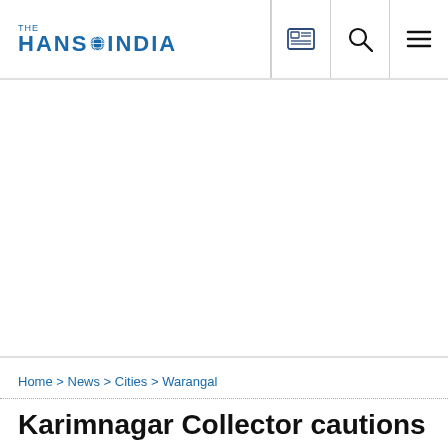THE HANS INDIA
[Figure (other): Advertisement / blank area below header]
Home > News > Cities > Warangal
Karimnagar Collector cautions